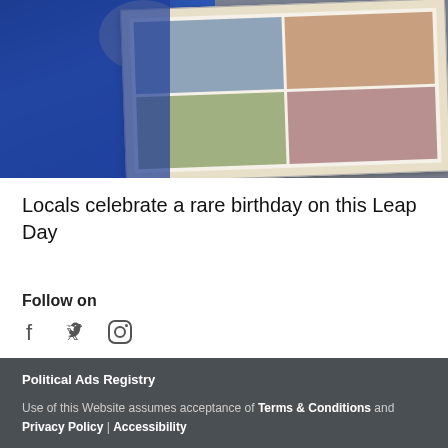[Figure (photo): An elderly woman in a blue outfit sitting on a couch holding open a photo album showing various photographs]
Locals celebrate a rare birthday on this Leap Day
Follow on
[Figure (illustration): Social media icons: Facebook, Twitter, Instagram]
Political Ads Registry
Use of this Website assumes acceptance of Terms & Conditions and Privacy Policy | Accessibility
© 2021 Bell Media All rights reserved.